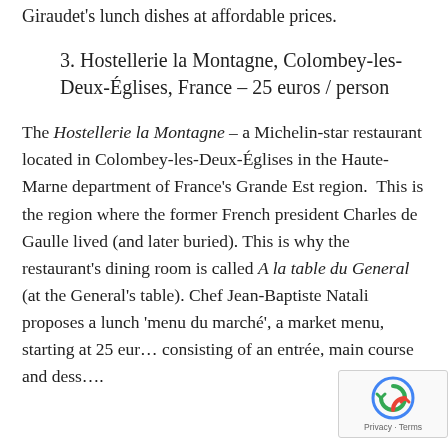Giraudet's lunch dishes at affordable prices.
3. Hostellerie la Montagne, Colombey-les-Deux-Églises, France – 25 euros / person
The Hostellerie la Montagne – a Michelin-star restaurant located in Colombey-les-Deux-Églises in the Haute-Marne department of France's Grande Est region.  This is the region where the former French president Charles de Gaulle lived (and later buried). This is why the restaurant's dining room is called A la table du General (at the General's table). Chef Jean-Baptiste Natali proposes a lunch 'menu du marché', a market menu, starting at 25 euros consisting of an entrée, main course and dessert.